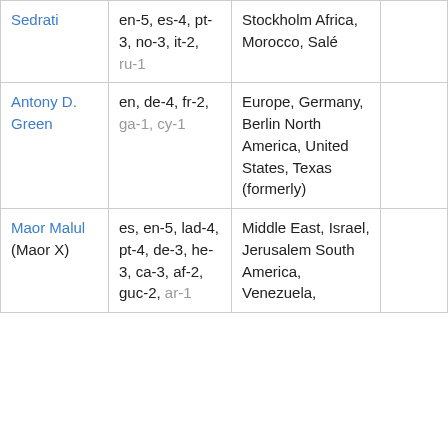| Sedrati | en-5, es-4, pt-3, no-3, it-2, ru-1 | Stockholm Africa, Morocco, Salé |  |
| Antony D. Green | en, de-4, fr-2, ga-1, cy-1 | Europe, Germany, Berlin North America, United States, Texas (formerly) |  |
| Maor Malul (Maor X) | es, en-5, lad-4, pt-4, de-3, he-3, ca-3, af-2, guc-2, ar-1 | Middle East, Israel, Jerusalem South America, Venezuela, |  |